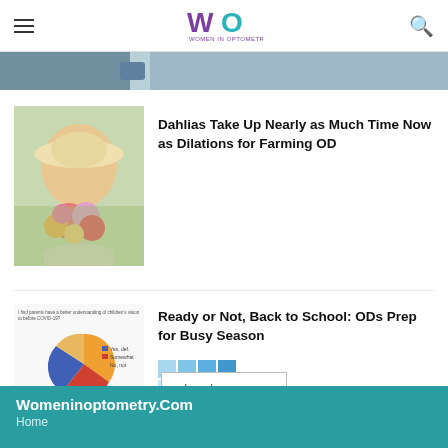Women in Optometry
[Figure (photo): Partial view of a person outdoors, cropped at top of page]
[Figure (photo): Woman wearing a sun hat holding a bouquet of colorful dahlias in a field]
Dahlias Take Up Nearly as Much Time Now as Dilations for Farming OD
[Figure (pie-chart): Pie chart with orange, red, and blue segments showing survey data about parents understanding of children's vision before COVID-19]
Ready or Not, Back to School: ODs Prep for Busy Season
[Figure (infographic): Blue grid of squares pattern thumbnail image]
Load more
Womeninoptometry.Com
Home